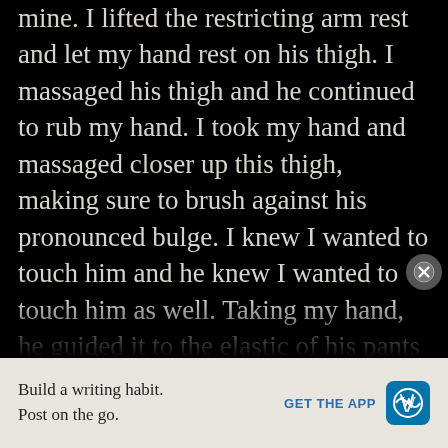mine. I lifted the restricting arm rest and let my hand rest on his thigh. I massaged his thigh and he continued to rub my hand. I took my hand and massaged closer up this thigh, making sure to brush against his pronounced bulge. I knew I wanted to touch him and he knew I wanted to touch him as well. Taking my hand, he guided it to the elastic of his pants and allowed my hand to part the fabric from his skin. I slide my hand inside and found his hard cock. I could feel the precum on my finger tips. I began stroking his huge cock back and forth. Reclining his seat and leaning his head back, he let out very soft moans of pleasure, only I could hear. I gripped him hard, using his precum and slowly stroked him
[Figure (other): Close button (X) circle icon overlaid on the text]
Build a writing habit. Post on the go.
GET THE APP
[Figure (logo): WordPress logo icon]